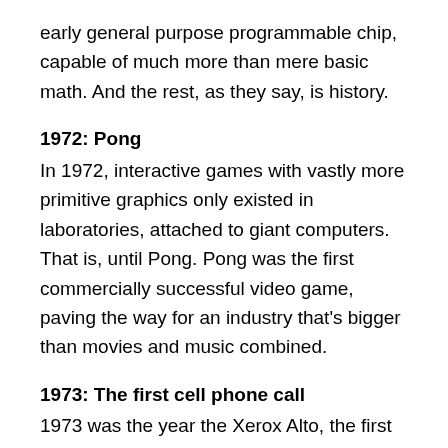early general purpose programmable chip, capable of much more than mere basic math. And the rest, as they say, is history.
1972: Pong
In 1972, interactive games with vastly more primitive graphics only existed in laboratories, attached to giant computers. That is, until Pong. Pong was the first commercially successful video game, paving the way for an industry that's bigger than movies and music combined.
1973: The first cell phone call
1973 was the year the Xerox Alto, the first cell phone call, TCP, Ethernet, and fiber optics were created. Together, all of those technologies have, in combination, informed the world we're in today. That makes 1973 a tough choice.